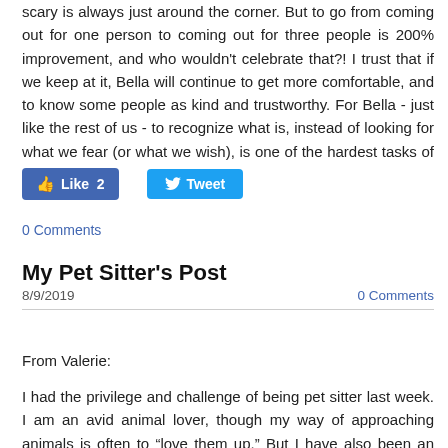scary is always just around the corner.  But to go from coming out for one person to coming out for three people is 200% improvement, and who wouldn't celebrate that?!  I trust that if we keep at it, Bella will continue to get more comfortable, and to know some people as kind and trustworthy.  For Bella - just like the rest of us - to recognize what is, instead of looking for what we fear (or what we wish), is one of the hardest tasks of all.
[Figure (screenshot): Facebook Like button showing 2 likes and Twitter Tweet button]
0 Comments
My Pet Sitter's Post
8/9/2019
0 Comments
From Valerie:
I had the privilege and challenge of being pet sitter last week.  I am an avid animal lover, though my way of approaching animals is often to “love them up.”  But I have also been an avid “Bella’s Journey” blog reader and I know that Leslie has found that Bella is so traumatized